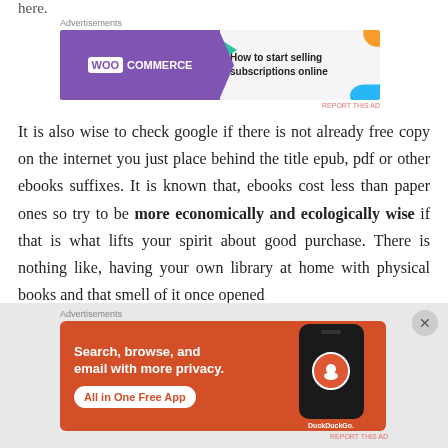here.
[Figure (other): WooCommerce advertisement banner: purple left panel with WooCommerce logo, right panel with text 'How to start selling subscriptions online', decorative shapes in green, orange, blue]
It is also wise to check google if there is not already free copy on the internet you just place behind the title epub, pdf or other ebooks suffixes. It is known that, ebooks cost less than paper ones so try to be more economically and ecologically wise if that is what lifts your spirit about good purchase. There is nothing like, having your own library at home with physical books and that smell of it once opened
[Figure (other): DuckDuckGo advertisement banner: orange background with text 'Search, browse, and email with more privacy. All in One Free App', phone mockup with DuckDuckGo logo on right]